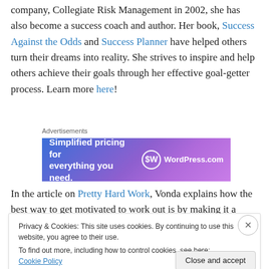company, Collegiate Risk Management in 2002, she has also become a success coach and author. Her book, Success Against the Odds and Success Planner have helped others turn their dreams into reality. She strives to inspire and help others achieve their goals through her effective goal-getter process. Learn more here!
[Figure (other): WordPress.com advertisement banner: 'Simplified pricing for everything you need.']
In the article on Pretty Hard Work, Vonda explains how the best way to get motivated to work out is by making it a
Privacy & Cookies: This site uses cookies. By continuing to use this website, you agree to their use. To find out more, including how to control cookies, see here: Cookie Policy
Close and accept